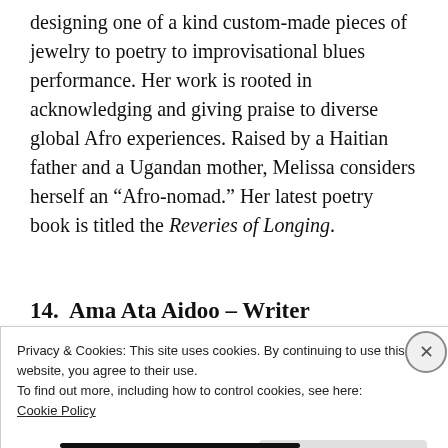designing one of a kind custom-made pieces of jewelry to poetry to improvisational blues performance. Her work is rooted in acknowledging and giving praise to diverse global Afro experiences. Raised by a Haitian father and a Ugandan mother, Melissa considers herself an “Afro-nomad.” Her latest poetry book is titled the Reveries of Longing.
14. Ama Ata Aidoo – Writer
Privacy & Cookies: This site uses cookies. By continuing to use this website, you agree to their use.
To find out more, including how to control cookies, see here:
Cookie Policy
Close and accept